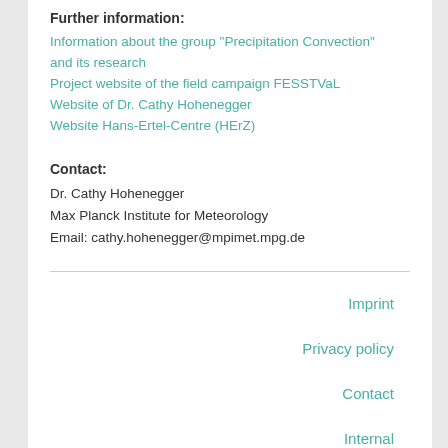Further information:
Information about the group “Precipitation Convection” and its research
Project website of the field campaign FESSТVaL
Website of Dr. Cathy Hohenegger
Website Hans-Ertel-Centre (HErZ)
Contact:
Dr. Cathy Hohenegger
Max Planck Institute for Meteorology
Email: cathy.hohenegger@mpimet.mpg.de
Imprint
Privacy policy
Contact
Internal